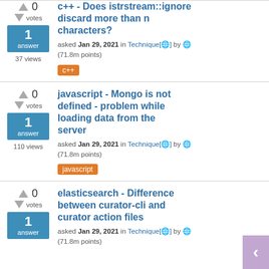c++ - Does istrstream::ignore discard more than n characters? asked Jan 29, 2021 in Technique by (71.8m points) | 0 votes | 1 answer | 37 views | tag: c++
javascript - Mongo is not defined - problem while loading data from the server asked Jan 29, 2021 in Technique by (71.8m points) | 0 votes | 1 answer | 110 views | tag: javascript
elasticsearch - Difference between curator-cli and curator action files asked Jan 29, 2021 in Technique by (71.8m points) | 1 answer